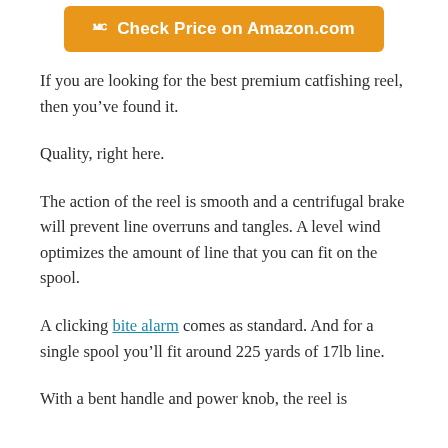[Figure (other): Orange Amazon 'Check Price on Amazon.com' button with Amazon logo/icon]
If you are looking for the best premium catfishing reel, then you’ve found it.
Quality, right here.
The action of the reel is smooth and a centrifugal brake will prevent line overruns and tangles. A level wind optimizes the amount of line that you can fit on the spool.
A clicking bite alarm comes as standard. And for a single spool you’ll fit around 225 yards of 17lb line.
With a bent handle and power knob, the reel is